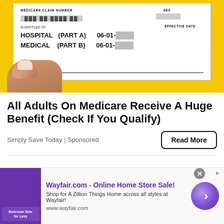[Figure (photo): A hand holding a Medicare card against a yellow background. The card shows MEDICARE CLAIM NUMBER, IS ENTITLED TO, HOSPITAL (PART A) and MEDICAL (PART B) with effective date 06-01- (year blurred).]
All Adults On Medicare Receive A Huge Benefit (Check If You Qualify)
Simply Save Today | Sponsored
[Figure (screenshot): Advertisement banner for Wayfair.com - Online Home Store Sale! showing bedroom furniture image, text: Shop for A Zillion Things Home across all styles at Wayfair! www.wayfair.com, with purple circular arrow button and close button.]